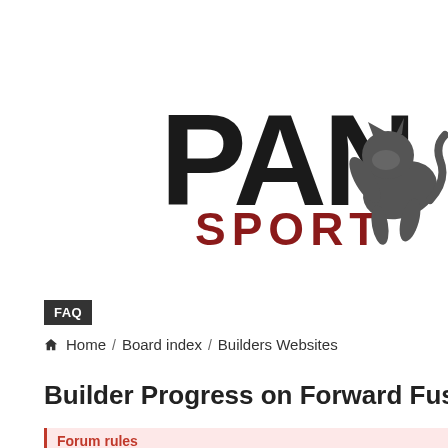[Figure (logo): Panther Sport logo — large bold black text 'PAN' (cropped, full word likely PANTHER) with 'SPORT' in dark red below, and a panther illustration on the right side, partially cropped.]
FAQ
Home / Board index / Builders Websites
Builder Progress on Forward Fuselage K
Forum rules